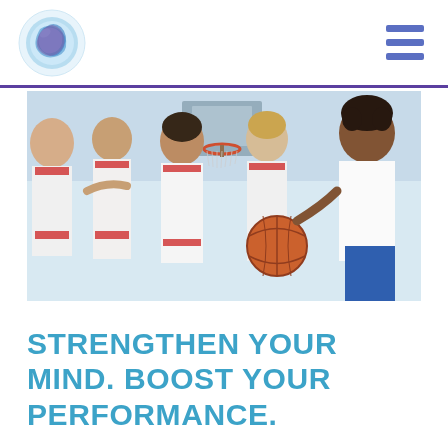[Figure (photo): Group of five female basketball players in white and red uniforms huddled together on a court, one holding a basketball. A coach or team leader appears to be addressing the group.]
STRENGTHEN YOUR MIND. BOOST YOUR PERFORMANCE.